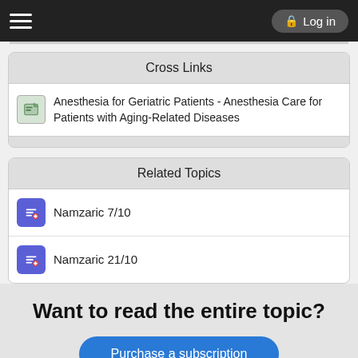Log in
Cross Links
Anesthesia for Geriatric Patients - Anesthesia Care for Patients with Aging-Related Diseases
Related Topics
Namzaric 7/10
Namzaric 21/10
Want to read the entire topic?
Purchase a subscription
I'm already a subscriber
Browse sample topics